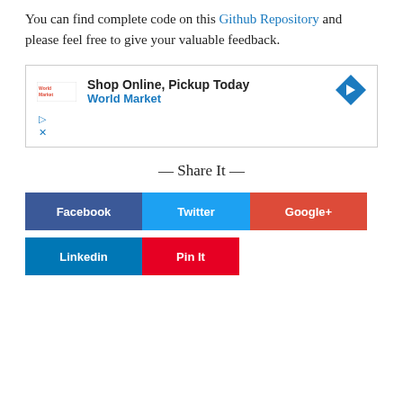You can find complete code on this Github Repository and please feel free to give your valuable feedback.
[Figure (other): Advertisement box: Shop Online, Pickup Today - World Market, with logo and navigation arrow icon]
— Share It —
Facebook | Twitter | Google+ | Linkedin | Pin It